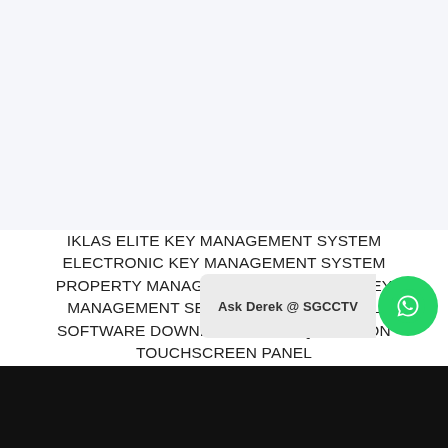IKLAS ELITE KEY MANAGEMENT SYSTEM ELECTRONIC KEY MANAGEMENT SYSTEM PROPERTY MANAGEMENT COMPANIES KEY MANAGEMENT SERVER SUPPLY INSTALL SOFTWARE DOWNLOAD PRICE QUOTATION TOUCHSCREEN PANEL
$18,000.00
Ask Derek @ SGCCTV